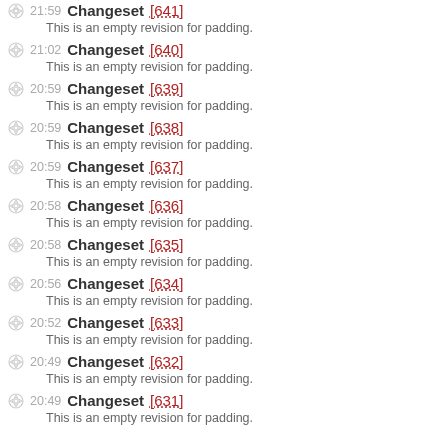21:59 Changeset [641] — This is an empty revision for padding.
21:02 Changeset [640] — This is an empty revision for padding.
20:59 Changeset [639] — This is an empty revision for padding.
20:59 Changeset [638] — This is an empty revision for padding.
20:59 Changeset [637] — This is an empty revision for padding.
20:58 Changeset [636] — This is an empty revision for padding.
20:58 Changeset [635] — This is an empty revision for padding.
20:56 Changeset [634] — This is an empty revision for padding.
20:52 Changeset [633] — This is an empty revision for padding.
20:49 Changeset [632] — This is an empty revision for padding.
20:49 Changeset [631] — This is an empty revision for padding.